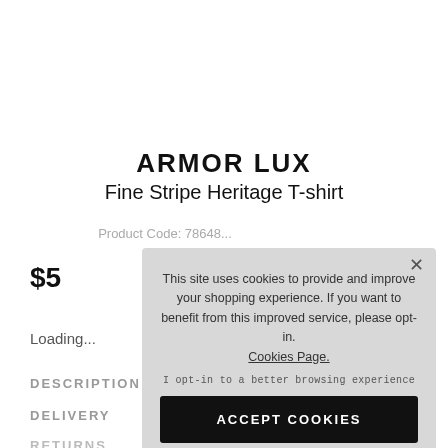ARMOR LUX
Fine Stripe Heritage T-shirt
$5
Loading...
DESCRIPTION
DELIVERY
RETURNS
[Figure (screenshot): Cookie consent popup overlay with text: This site uses cookies to provide and improve your shopping experience. If you want to benefit from this improved service, please opt-in. Cookies Page. I opt-in to a better browsing experience. ACCEPT COOKIES button.]